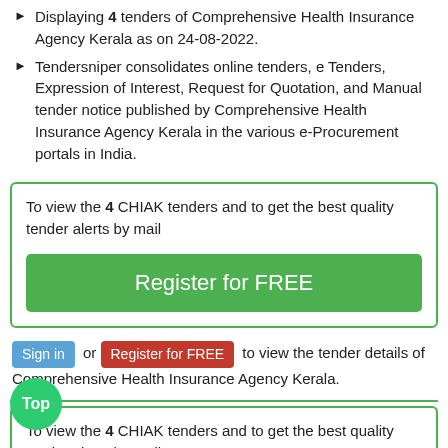Displaying 4 tenders of Comprehensive Health Insurance Agency Kerala as on 24-08-2022.
Tendersniper consolidates online tenders, e Tenders, Expression of Interest, Request for Quotation, and Manual tender notice published by Comprehensive Health Insurance Agency Kerala in the various e-Procurement portals in India.
To view the 4 CHIAK tenders and to get the best quality tender alerts by mail
Register for FREE
Sign in or Register for FREE to view the tender details of Comprehensive Health Insurance Agency Kerala.
To view the 4 CHIAK tenders and to get the best quality tender alerts by mail
START FREE TRIAL